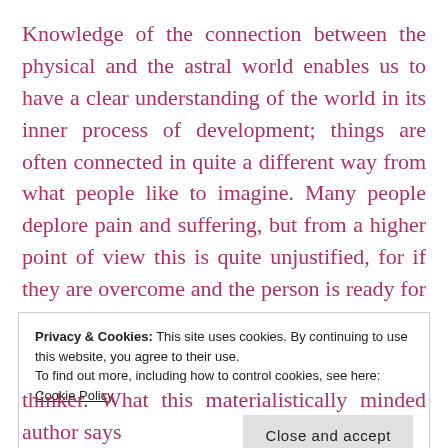Knowledge of the connection between the physical and the astral world enables us to have a clear understanding of the world in its inner process of development; things are often connected in quite a different way from what people like to imagine. Many people deplore pain and suffering, but from a higher point of view this is quite unjustified, for if they are overcome and the person is ready for a new incarnation, suffering and pain are the sources of wisdom, prudence and comprehensiveness of vision.
Privacy & Cookies: This site uses cookies. By continuing to use this website, you agree to their use. To find out more, including how to control cookies, see here: Cookie Policy
Close and accept
thinker. What this materialistically minded author says